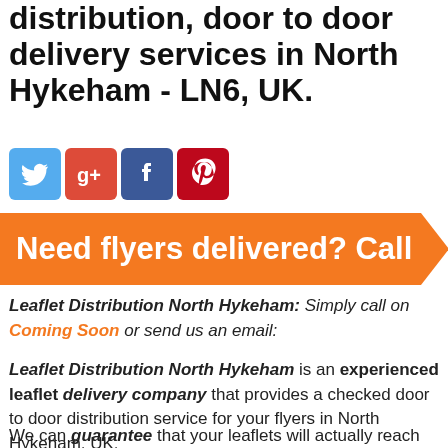distribution, door to door delivery services in North Hykeham - LN6, UK.
[Figure (infographic): Social media icons: Twitter (blue bird), Google+ (red g+), Facebook (blue f), Pinterest (red P)]
[Figure (infographic): Orange banner with white bold text: Need flyers delivered? Call]
Leaflet Distribution North Hykeham: Simply call on Coming Soon or send us an email:
Leaflet Distribution North Hykeham is an experienced leaflet delivery company that provides a checked door to door distribution service for your flyers in North Hykeham, UK.
We can guarantee that your leaflets will actually reach letterboxes because we have been providing this service since 2004 on a daily basis.